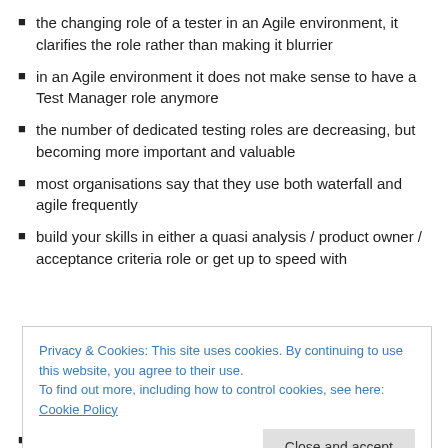the changing role of a tester in an Agile environment, it clarifies the role rather than making it blurrier
in an Agile environment it does not make sense to have a Test Manager role anymore
the number of dedicated testing roles are decreasing, but becoming more important and valuable
most organisations say that they use both waterfall and agile frequently
build your skills in either a quasi analysis / product owner / acceptance criteria role or get up to speed with
Privacy & Cookies: This site uses cookies. By continuing to use this website, you agree to their use.
To find out more, including how to control cookies, see here: Cookie Policy
acceptance criteria upfront helps understand what we